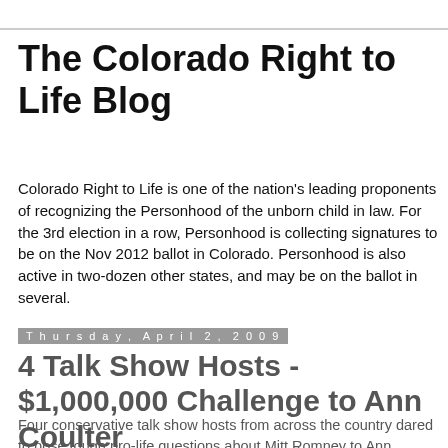The Colorado Right to Life Blog
Colorado Right to Life is one of the nation's leading proponents of recognizing the Personhood of the unborn child in law. For the 3rd election in a row, Personhood is collecting signatures to be on the Nov 2012 ballot in Colorado. Personhood is also active in two-dozen other states, and may be on the ballot in several.
Thursday, April 2, 2009
4 Talk Show Hosts - $1,000,000 Challenge to Ann Coulter
Four conservative talk show hosts from across the country dared to pose tough pro-life questions about Mitt Romney to Ann Coulter, and all she could do was splutter!